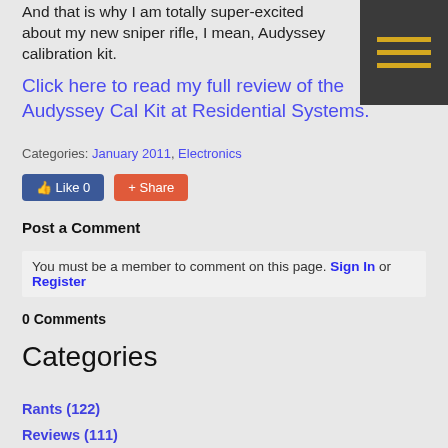And that is why I am totally super-excited about my new sniper rifle, I mean, Audyssey calibration kit.
Click here to read my full review of the Audyssey Cal Kit at Residential Systems.
Categories: January 2011, Electronics
Like 0  Share
Post a Comment
You must be a member to comment on this page. Sign In or Register
0 Comments
Categories
Rants (122)
Reviews (111)
3D TV (33)